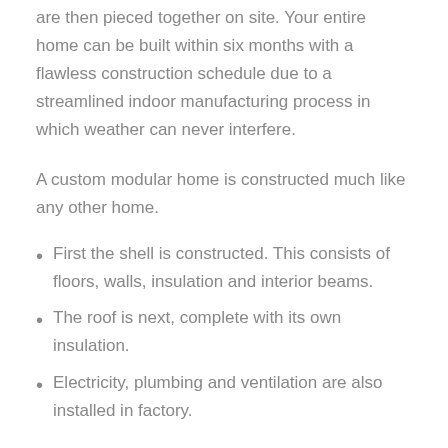are then pieced together on site. Your entire home can be built within six months with a flawless construction schedule due to a streamlined indoor manufacturing process in which weather can never interfere.
A custom modular home is constructed much like any other home.
First the shell is constructed. This consists of floors, walls, insulation and interior beams.
The roof is next, complete with its own insulation.
Electricity, plumbing and ventilation are also installed in factory.